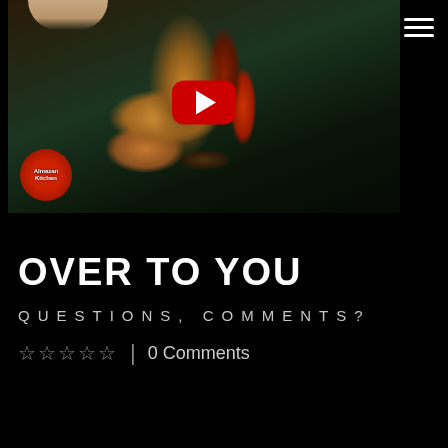[Figure (screenshot): YouTube video thumbnail showing a hand holding a stuffed baguette/bread roll filled with vegetables, rice, and red sauce. The Almazan Kitchen logo (red tomato circle) is in the bottom left. A red YouTube play button is centered on the image. A hamburger menu icon is in the top right corner of the page.]
OVER TO YOU
QUESTIONS, COMMENTS?
☆☆☆☆☆  |  0 Comments